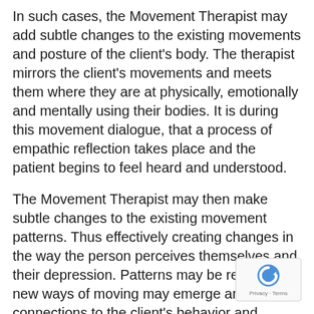In such cases, the Movement Therapist may add subtle changes to the existing movements and posture of the client's body. The therapist mirrors the client's movements and meets them where they are at physically, emotionally and mentally using their bodies. It is during this movement dialogue, that a process of empathic reflection takes place and the patient begins to feel heard and understood.
The Movement Therapist may then make subtle changes to the existing movement patterns. Thus effectively creating changes in the way the person perceives themselves and their depression. Patterns may be repeated, new ways of moving may emerge and connections to the client's behavior and relationships are uncovered.